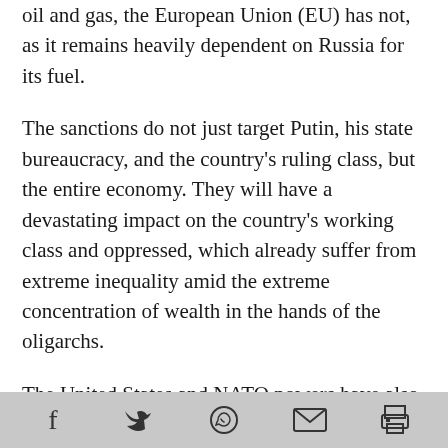oil and gas, the European Union (EU) has not, as it remains heavily dependent on Russia for its fuel.
The sanctions do not just target Putin, his state bureaucracy, and the country's ruling class, but the entire economy. They will have a devastating impact on the country's working class and oppressed, which already suffer from extreme inequality amid the extreme concentration of wealth in the hands of the oligarchs.
The United States and NATO powers have also rushed troop deployments to member countries that border Ukraine and Russia and increased shipments of military aid to Ukraine. State after
social share icons: Facebook, Twitter, WhatsApp, Email, Print